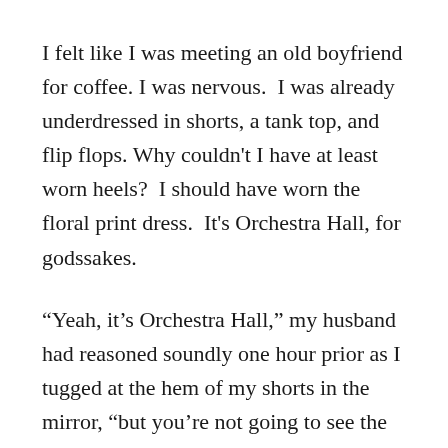I felt like I was meeting an old boyfriend for coffee. I was nervous.  I was already underdressed in shorts, a tank top, and flip flops. Why couldn't I have at least worn heels?  I should have worn the floral print dress.  It's Orchestra Hall, for godssakes.
“Yeah, it’s Orchestra Hall,” my husband had reasoned soundly one hour prior as I tugged at the hem of my shorts in the mirror, “but you’re not going to see the orchestra.”
True enough.